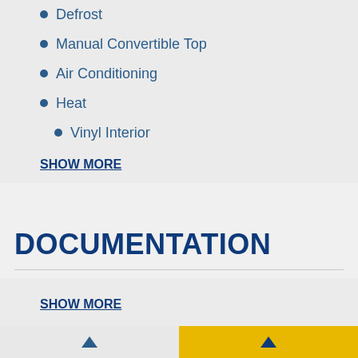Defrost
Manual Convertible Top
Air Conditioning
Heat
Vinyl Interior
SHOW MORE
DOCUMENTATION
SHOW MORE